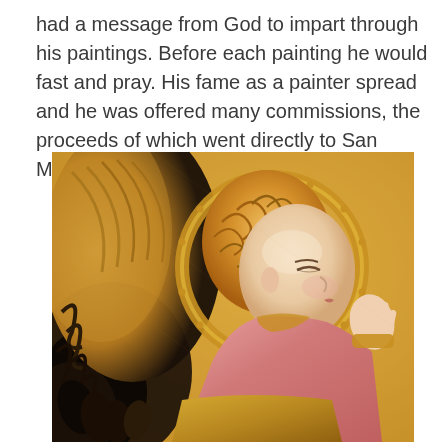had a message from God to impart through his paintings. Before each painting he would fast and pray. His fame as a painter spread and he was offered many commissions, the proceeds of which went directly to San Marco.
[Figure (photo): Close-up detail of a Fra Angelico painting showing an angel with golden curly hair, a golden halo, large feathered wings in gold and dark tones, wearing a pink and gold robe, with one hand raised in a gesture of blessing or speech. The background is gold-toned.]